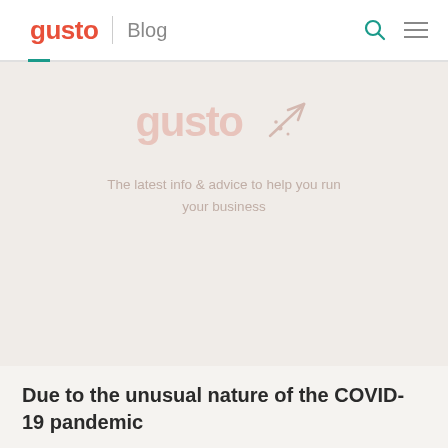gusto | Blog
[Figure (screenshot): Gusto blog hero banner with faded gusto logo, arrow/paper-plane icon, and tagline 'The latest info & advice to help you run your business']
Due to the unusual nature of the COVID-19 pandemic